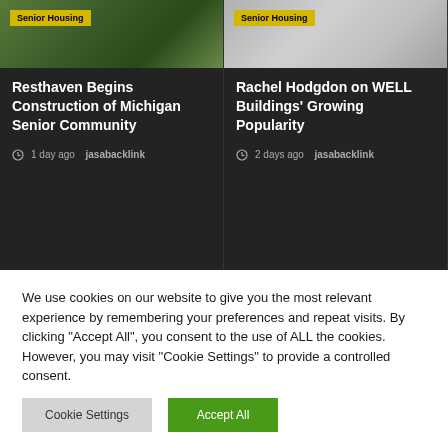[Figure (photo): Aerial/outdoor photo of a senior housing community with green landscaping]
Senior Housing
Resthaven Begins Construction of Michigan Senior Community
1 day ago  jasabacklink
[Figure (photo): Gray/silver abstract background image for senior housing article]
Senior Housing
Rachel Hodgdon on WELL Buildings' Growing Popularity
2 days ago  jasabacklink
[Figure (photo): White/light colored document or architectural model photo]
We use cookies on our website to give you the most relevant experience by remembering your preferences and repeat visits. By clicking "Accept All", you consent to the use of ALL the cookies. However, you may visit "Cookie Settings" to provide a controlled consent.
Cookie Settings
Accept All